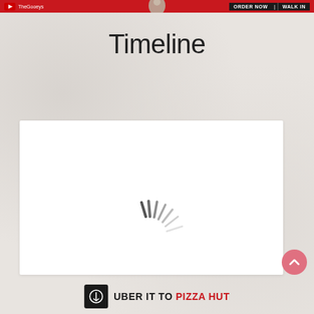ORDER NOW | WALK IN
Timeline
< Back to Timeline
[Figure (other): Loading spinner animation with radiating dark grey lines on white background card]
[Figure (logo): Uber logo black square with circle-arrow icon]
UBER IT TO PIZZA HUT